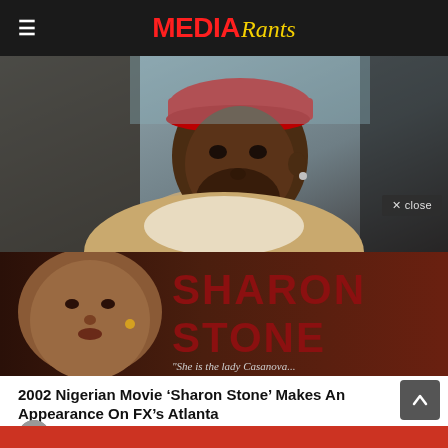MEDIA Rants
[Figure (photo): Black man wearing a red cap and beige sherpa jacket, looking serious, seated in what appears to be a car interior]
[Figure (photo): Sharon Stone Nigerian movie poster — close-up of a woman's face on the left side with large dark red text 'SHARON STONE' and the tagline 'She is the lady Casanova...' on the right]
2002 Nigerian Movie ‘Sharon Stone’ Makes An Appearance On FX’s Atlanta
by Talius Dike  4 months ago